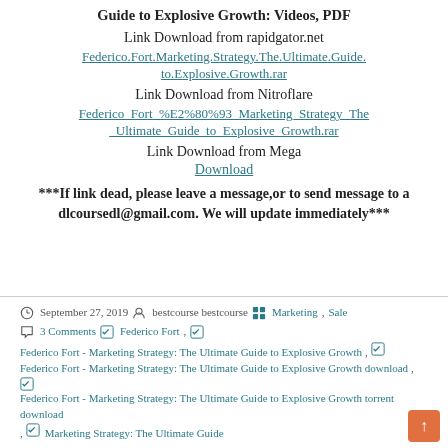Guide to Explosive Growth: Videos, PDF
Link Download from rapidgator.net
Federico.Fort.Marketing.Strategy.The.Ultimate.Guide.to.Explosive.Growth.rar
Link Download from Nitroflare
Federico_Fort_%E2%80%93_Marketing_Strategy_The_Ultimate_Guide_to_Explosive_Growth.rar
Link Download from Mega
Download
***If link dead, please leave a message,or to send message to a dlcoursedl@gmail.com. We will update immediately***
September 27, 2019  bestcourse bestcourse  Marketing, Sale  3 Comments  Federico Fort,  Federico Fort - Marketing Strategy: The Ultimate Guide to Explosive Growth,  Federico Fort - Marketing Strategy: The Ultimate Guide to Explosive Growth download,  Federico Fort - Marketing Strategy: The Ultimate Guide to Explosive Growth torrent download,  Marketing Strategy: The Ultimate Guide